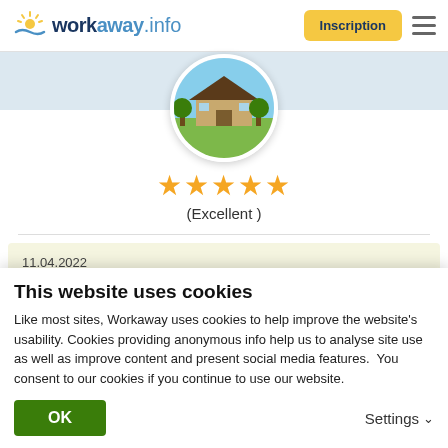[Figure (logo): Workaway.info logo with sun icon]
Inscription
[Figure (photo): Circular profile photo of a house/building with trees]
★★★★★
(Excellent )
11.04.2022
Laissé par le workawayer (Lilla) pour l'hôte
Thank you so much for the kind and positive feedback !
This website uses cookies
Like most sites, Workaway uses cookies to help improve the website's usability. Cookies providing anonymous info help us to analyse site use as well as improve content and present social media features.  You consent to our cookies if you continue to use our website.
OK
Settings